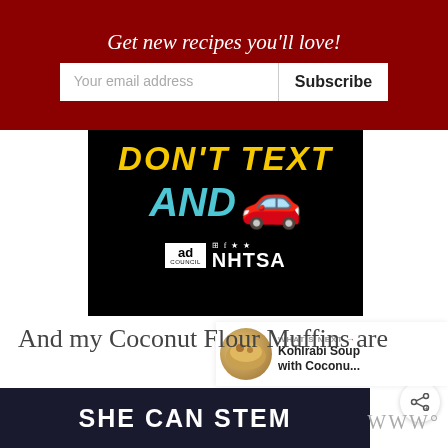Get new recipes you'll love!
Your email address  Subscribe
[Figure (photo): NHTSA 'Don't Text and Drive' PSA image on black background with yellow bold italic 'DON'T TEXT', cyan bold italic 'AND', red car emoji, and Ad Council / NHTSA logos]
And my Coconut Flour Muffins are
[Figure (advertisement): SHE CAN STEM dark blue advertisement banner with white bold text]
WWW°